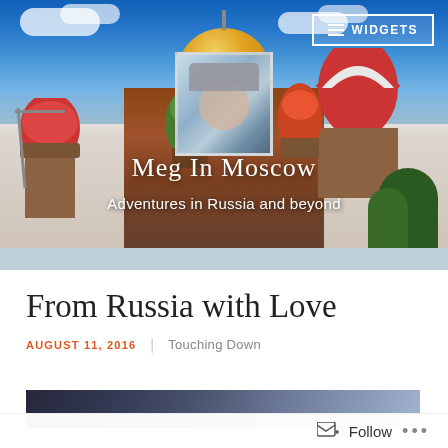[Figure (photo): Blog header banner showing Saint Basil's Cathedral in Moscow with colorful onion domes against a blue sky. A small profile photo of a woman wearing a winter hat is overlaid in the center. Text overlay reads 'Meg In Moscow' and 'Adventures in Russia and beyond'. A Widgets button is in the top right corner.]
From Russia with Love
AUGUST 11, 2016 | Touching Down
[Figure (photo): Partial view of a photo at the bottom of the page, showing a dark blurred image, likely an outdoor scene.]